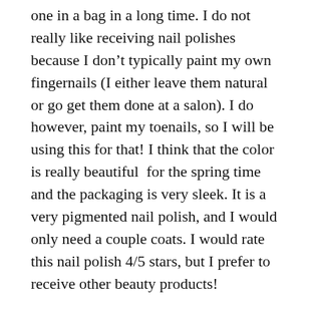one in a bag in a long time. I do not really like receiving nail polishes because I don't typically paint my own fingernails (I either leave them natural or go get them done at a salon). I do however, paint my toenails, so I will be using this for that! I think that the color is really beautiful  for the spring time and the packaging is very sleek. It is a very pigmented nail polish, and I would only need a couple coats. I would rate this nail polish 4/5 stars, but I prefer to receive other beauty products!
Ciate London – Fruit Burst Lip Oil in Lychee & Acai
I have tried multiple products by this brand, and I really like them. I must I had...